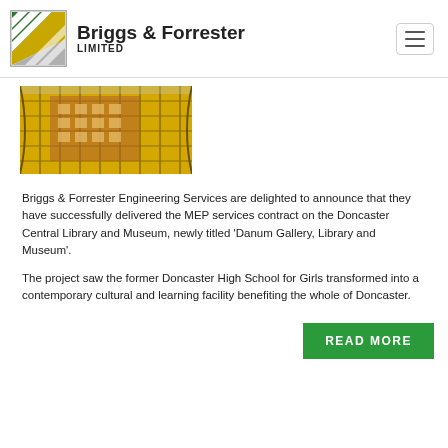Briggs & Forrester LIMITED
[Figure (photo): Exterior view of Doncaster Central Library and Museum (Danum Gallery) showing reflective yellow glass facade with historic building visible inside]
Briggs & Forrester Engineering Services are delighted to announce that they have successfully delivered the MEP services contract on the Doncaster Central Library and Museum, newly titled ‘Danum Gallery, Library and Museum’.
The project saw the former Doncaster High School for Girls transformed into a contemporary cultural and learning facility benefiting the whole of Doncaster.
READ MORE